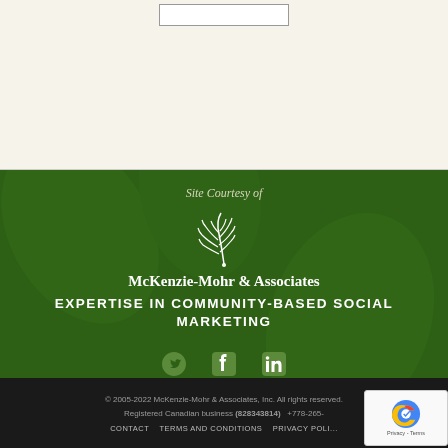[Figure (screenshot): Top white/cream section with a search input box, partial website header area]
[Figure (illustration): Green footer banner with fern leaf logo, McKenzie-Mohr & Associates company name and tagline, social media icons (Twitter, Facebook, LinkedIn)]
Site Courtesy of
McKenzie-Mohr & Associates
EXPERTISE IN COMMUNITY-BASED SOCIAL MARKETING
© 2005-2022 McKenzie-Mohr & Associates, Inc. All rights reserved. Registered Canadian business (828343814)  +778-265-  CONTACT   TERMS AND CONDITIONS   PRIVACY POLI...